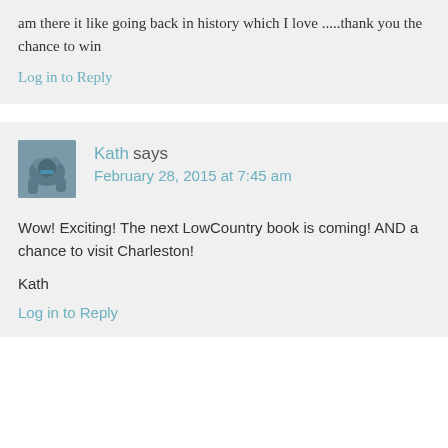am there it like going back in history which I love .....thank you the chance to win
Log in to Reply
Kath says
February 28, 2015 at 7:45 am
Wow! Exciting! The next LowCountry book is coming! AND a chance to visit Charleston!
Kath
Log in to Reply